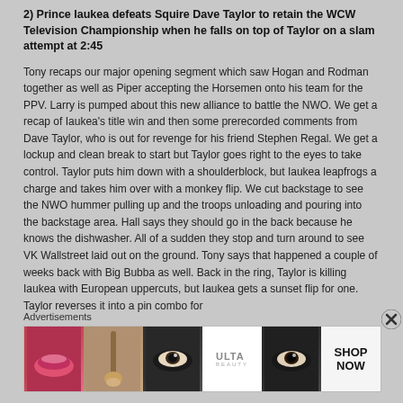2) Prince Iaukea defeats Squire Dave Taylor to retain the WCW Television Championship when he falls on top of Taylor on a slam attempt at 2:45
Tony recaps our major opening segment which saw Hogan and Rodman together as well as Piper accepting the Horsemen onto his team for the PPV. Larry is pumped about this new alliance to battle the NWO. We get a recap of Iaukea's title win and then some prerecorded comments from Dave Taylor, who is out for revenge for his friend Stephen Regal. We get a lockup and clean break to start but Taylor goes right to the eyes to take control. Taylor puts him down with a shoulderblock, but Iaukea leapfrogs a charge and takes him over with a monkey flip. We cut backstage to see the NWO hummer pulling up and the troops unloading and pouring into the backstage area. Hall says they should go in the back because he knows the dishwasher. All of a sudden they stop and turn around to see VK Wallstreet laid out on the ground. Tony says that happened a couple of weeks back with Big Bubba as well. Back in the ring, Taylor is killing Iaukea with European uppercuts, but Iaukea gets a sunset flip for one. Taylor reverses it into a pin combo for
Advertisements
[Figure (other): Advertisement banner for ULTA Beauty showing makeup images and a SHOP NOW call to action]